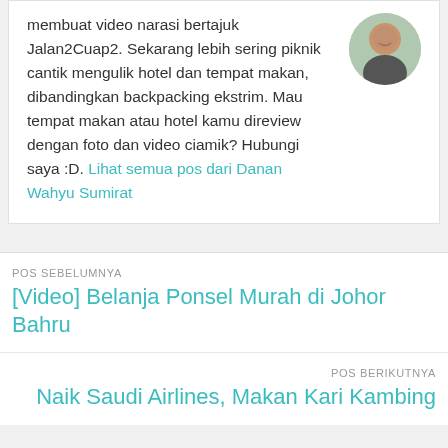membuat video narasi bertajuk Jalan2Cuap2. Sekarang lebih sering piknik cantik mengulik hotel dan tempat makan, dibandingkan backpacking ekstrim. Mau tempat makan atau hotel kamu direview dengan foto dan video ciamik? Hubungi saya :D. Lihat semua pos dari Danan Wahyu Sumirat
[Figure (photo): Circular profile photo of a man smiling, partially visible, outdoors background]
POS SEBELUMNYA
[Video] Belanja Ponsel Murah di Johor Bahru
POS BERIKUTNYA
Naik Saudi Airlines, Makan Kari Kambing